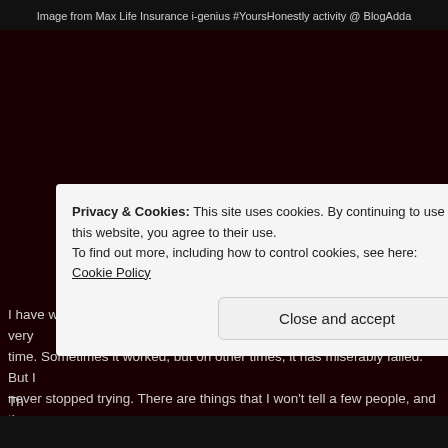Image from Max Life Insurance i-genius #YoursHonestly activity @ BlogAdda
I have worked with that a lot, and have tried to stick to the same for a very time. Sometimes it worked, but on other times, it has miserably failed. But I never stopped trying. There are things that I won't tell a few people, and th times when I have avoided people because I didn't want to lie. But those m were actually worth it. But in the end, it had to be about truth, and I have tr for the same, even though there are times when the perception of truth has strange.
Privacy & Cookies: This site uses cookies. By continuing to use this website, you agree to their use.
To find out more, including how to control cookies, see here: Cookie Policy
[Figure (screenshot): Close and accept button for cookie banner]